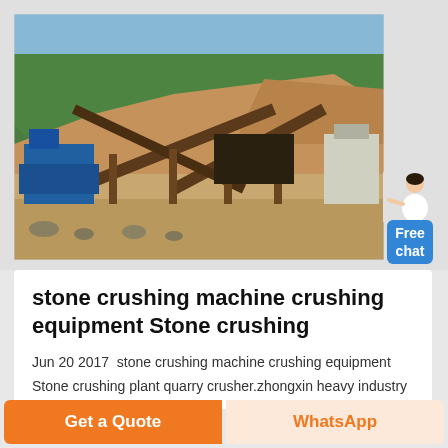[Figure (photo): Outdoor stone crushing plant with conveyor belts, machinery, and hillside background with green trees and exposed earth]
[Figure (illustration): Free chat widget: illustrated female figure pointing, with blue button labeled 'Free chat']
stone crushing machine crushing equipment Stone crushing
Jun 20 2017  stone crushing machine crushing equipment Stone crushing plant quarry crusher.zhongxin heavy industry
Get a Quote
WhatsApp